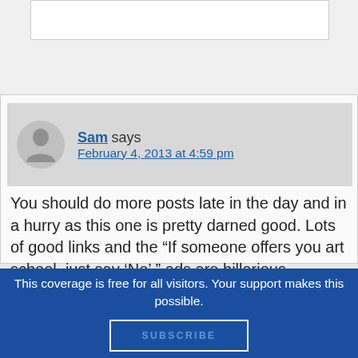Sam says
February 4, 2013 at 4:59 pm
You should do more posts late in the day and in a hurry as this one is pretty darned good. Lots of good links and the “If someone offers you art school, just say ‘No’ ” ads are hillarious.
This coverage is free for all visitors. Your support makes this possible.
SUBSCRIBE